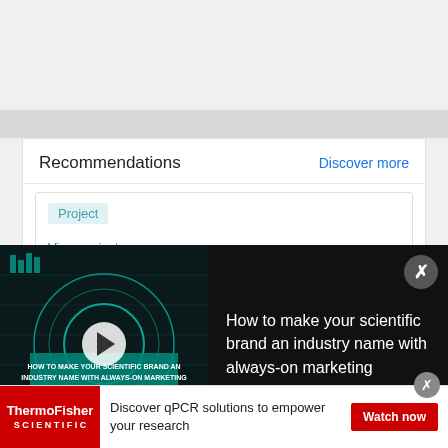Recommendations
Discover more
Project
View project
[Figure (screenshot): Video popup overlay showing 'How to make your scientific brand an industry name with always-on marketing' with a thumbnail on the left and text on the right, with a close button]
Advertisement
[Figure (infographic): ThermoFisher Scientific banner advertisement: 'Discover qPCR solutions to empower your research' with Watch now button]